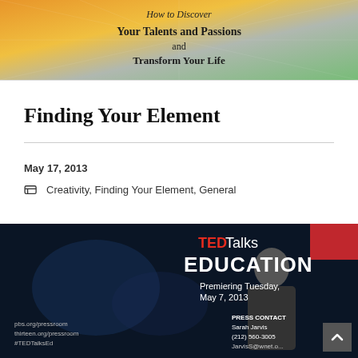[Figure (photo): Book cover showing colorful abstract design with text 'How to Discover Your Talents and Passions and Transform Your Life']
Finding Your Element
May 17, 2013
Creativity, Finding Your Element, General
[Figure (photo): TED Talks Education promotional image. Text reads: TED Talks EDUCATION, Premiering Tuesday, May 7, 2013. Bottom left: pbs.org/pressroom, thirteen.org/pressroom, #TEDTalksEd. Bottom right: PRESS CONTACT Sarah Jarvis (212) 560-3005 JarvisS@wnet.org. Man presenting on dark stage in background.]